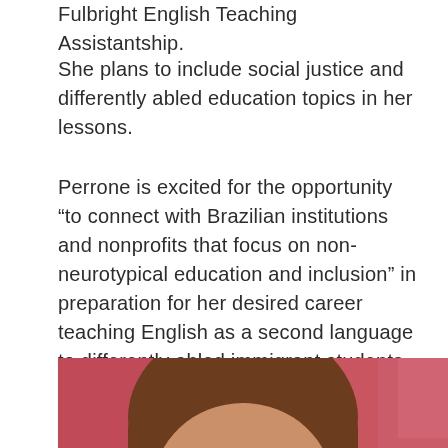Fulbright English Teaching Assistantship.
She plans to include social justice and differently abled education topics in her lessons.
Perrone is excited for the opportunity “to connect with Brazilian institutions and nonprofits that focus on non-neurotypical education and inclusion” in preparation for her desired career teaching English as a second language to differently abled immigrant students.
[Figure (photo): Portrait photo of a young woman with long brown hair and dark-rimmed glasses, against a pink/red background.]